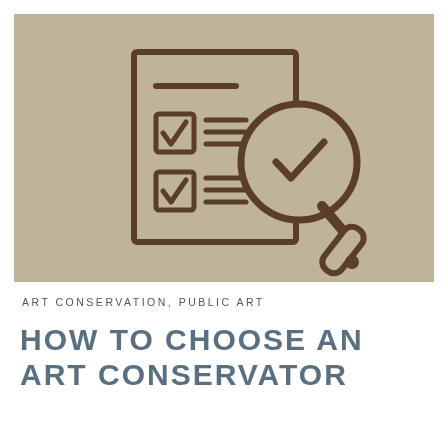[Figure (illustration): Icon illustration on a tan/khaki background showing a checklist document with two checked checkboxes and horizontal lines, overlaid with a magnifying glass containing a checkmark. Style is outline/line art in dark brown on a warm beige background.]
ART CONSERVATION, PUBLIC ART
HOW TO CHOOSE AN ART CONSERVATOR